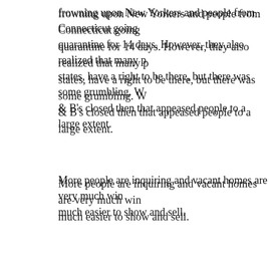frowning upon New Yorkers and people from Connecticut going into quarantine for 14 days. However, they also realized that many people from other states, have a right to be there, but there was some grumbling. When the Air & B's closed then that appeased people to a large extent.
More people are inquiring and vacant homes are very much win... much easier to show and sell.
Debi recounts a client calling... their in-laws, needed to mo... featured a co... wanting to bu... the table (pai... secure the pr... environment...
Rentals are also in great demand, even furnished. Over 50% of...